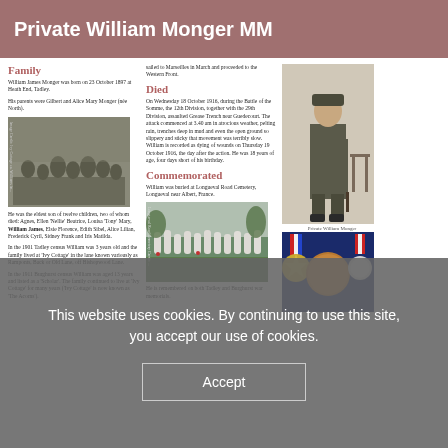Private William Monger MM
Family
William James Monger was born on 23 October 1897 at Heath End, Tadley.
His parents were Gilbert and Alice Mary Monger (née North).
[Figure (photo): Black and white family group photograph]
He was the eldest son of twelve children, two of whom died: Agnes, Ellen 'Nellie' Beatrice, Louisa 'Tony' Mary, William James, Elsie Florence, Edith Sibel, Alice Lilian, Frederick Cyril, Sidney Frank and Iris Matilda.
In the 1901 Tadley census William was 3 years old and the family lived at 'Ivy Cottage' in the lane known variously as Ramponts, Back or Old Lane, off Bishopwood Lane.
In the 1911 Burghurst census William was aged 13 years and listed as a 'Scholar'. The family continued to live at 'Ivy Cottage' for many years ('Ivy Cottage' is now known as 'The Acorns').
sailed to Marseilles in March and proceeded to the Western Front.
Died
On Wednesday 18 October 1916, during the Battle of the Somme, the 12th Division, together with the 29th Division, assaulted Grease Trench near Guedecourt. The attack commenced at 3.40 am in atrocious weather, pelting rain, trenches deep in mud and even the open ground so slippery and sticky that movement was terribly slow. William is recorded as dying of wounds on Thursday 19 October 1916, the day after the action. He was 18 years of age, four days short of his birthday.
Commemorated
William was buried at Longueval Road Cemetery, Longueval near Albert, France.
[Figure (photo): Cemetery with white headstones in rows]
He is remembered on both Tadley and Burghurst war memorials.
[Figure (photo): Black and white portrait of Private William Monger in military uniform]
Private William Monger
[Figure (photo): Military medals including a star medal, a large circular memorial plaque, and a smaller circular medal with ribbon]
This website uses cookies. By continuing to use this site, you accept our use of cookies.
Accept